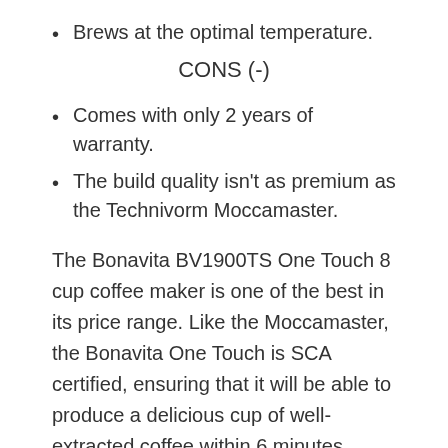Brews at the optimal temperature.
CONS (-)
Comes with only 2 years of warranty.
The build quality isn't as premium as the Technivorm Moccamaster.
The Bonavita BV1900TS One Touch 8 cup coffee maker is one of the best in its price range. Like the Moccamaster, the Bonavita One Touch is SCA certified, ensuring that it will be able to produce a delicious cup of well-extracted coffee within 6 minutes.
Using its 1500-watt heating element, the